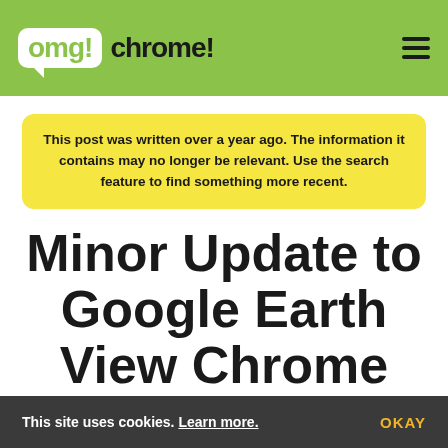omg!chrome!
This post was written over a year ago. The information it contains may no longer be relevant. Use the search feature to find something more recent.
Minor Update to Google Earth View Chrome Tab Extension Now Rolling Out
This site uses cookies. Learn more. OKAY